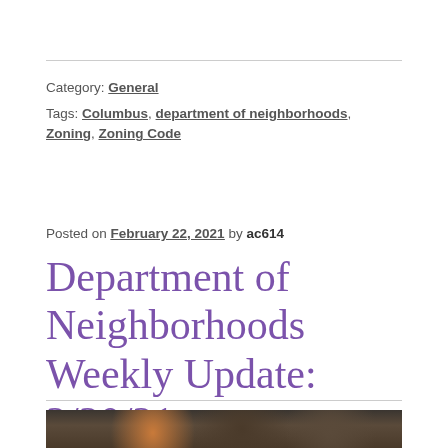Category: General
Tags: Columbus, department of neighborhoods, Zoning, Zoning Code
Posted on February 22, 2021 by ac614
Department of Neighborhoods Weekly Update: 2/20/21
[Figure (photo): Partial photo of people, cropped at bottom of page]